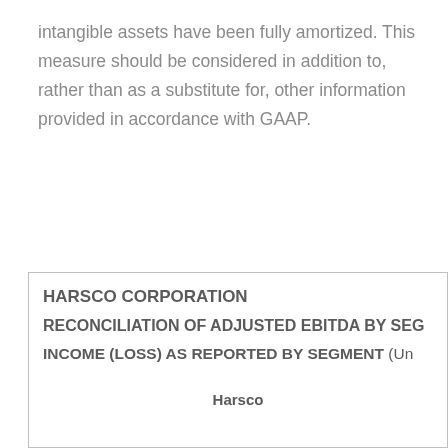intangible assets have been fully amortized. This measure should be considered in addition to, rather than as a substitute for, other information provided in accordance with GAAP.
| Harsco |
| --- |
| HARSCO CORPORATION |
| RECONCILIATION OF ADJUSTED EBITDA BY SEG... |
| INCOME (LOSS) AS REPORTED BY SEGMENT (Un... |
| Harsco |